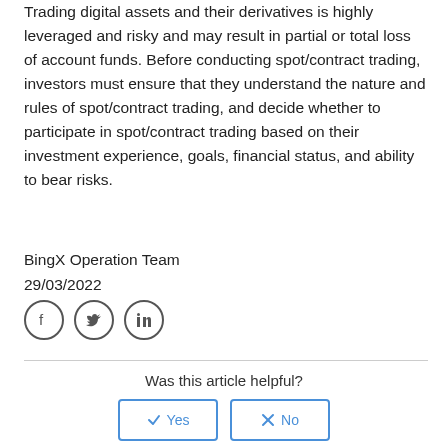Trading digital assets and their derivatives is highly leveraged and risky and may result in partial or total loss of account funds. Before conducting spot/contract trading, investors must ensure that they understand the nature and rules of spot/contract trading, and decide whether to participate in spot/contract trading based on their investment experience, goals, financial status, and ability to bear risks.
BingX Operation Team
29/03/2022
[Figure (other): Social media icons: Facebook, Twitter, LinkedIn]
Was this article helpful?
22 out of 24 found this helpful